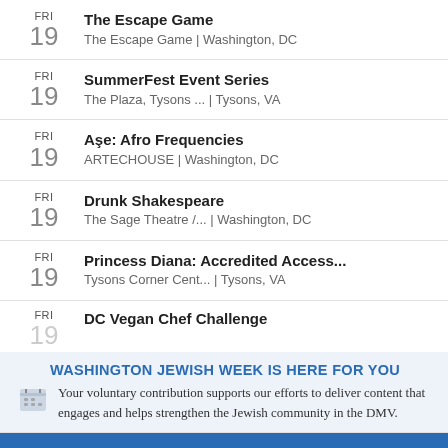FRI 19 — The Escape Game | The Escape Game | Washington, DC
FRI 19 — SummerFest Event Series | The Plaza, Tysons ... | Tysons, VA
FRI 19 — Aşe: Afro Frequencies | ARTECHOUSE | Washington, DC
FRI 19 — Drunk Shakespeare | The Sage Theatre /... | Washington, DC
FRI 19 — Princess Diana: Accredited Access... | Tysons Corner Cent... | Tysons, VA
FRI 19 — DC Vegan Chef Challenge
WASHINGTON JEWISH WEEK IS HERE FOR YOU
Your voluntary contribution supports our efforts to deliver content that engages and helps strengthen the Jewish community in the DMV.
CONTRIBUTE
YOU SHOULD KNOW